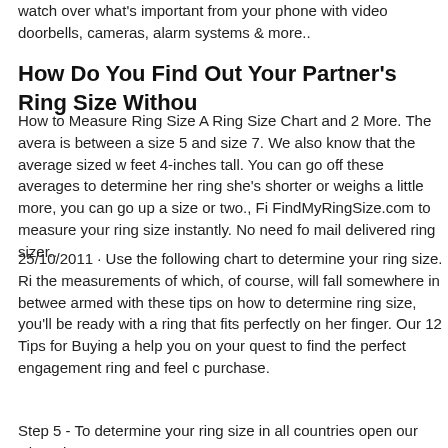watch over what's important from your phone with video doorbells, cameras, alarm systems & more..
How Do You Find Out Your Partner's Ring Size Withou
How to Measure Ring Size A Ring Size Chart and 2 More. The avera is between a size 5 and size 7. We also know that the average sized w feet 4-inches tall. You can go off these averages to determine her ring she's shorter or weighs a little more, you can go up a size or two., Fi FindMyRingSize.com to measure your ring size instantly. No need fo mail delivered ring sizer..
25/10/2011 · Use the following chart to determine your ring size. Ri the measurements of which, of course, will fall somewhere in betwee armed with these tips on how to determine ring size, you'll be ready with a ring that fits perfectly on her finger. Our 12 Tips for Buying a help you on your quest to find the perfect engagement ring and feel c purchase.
Step 5 - To determine your ring size in all countries open our Ring Si